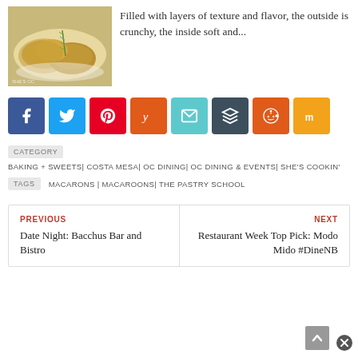[Figure (photo): Food photo showing baked biscuits or scones on a white plate with a sprig of rosemary, watermark visible]
Filled with layers of texture and flavor, the outside is crunchy, the inside soft and...
[Figure (infographic): Row of social media share buttons: Facebook, Twitter, Pinterest, Yummly, Email, Buffer, Reddit, Mix]
CATEGORY   BAKING + SWEETS| COSTA MESA| OC DINING| OC DINING & EVENTS| SHE'S COOKIN'
TAGS   MACARONS | MACAROONS| THE PASTRY SCHOOL
PREVIOUS
Date Night: Bacchus Bar and Bistro
NEXT
Restaurant Week Top Pick: Modo Mido #DineNB